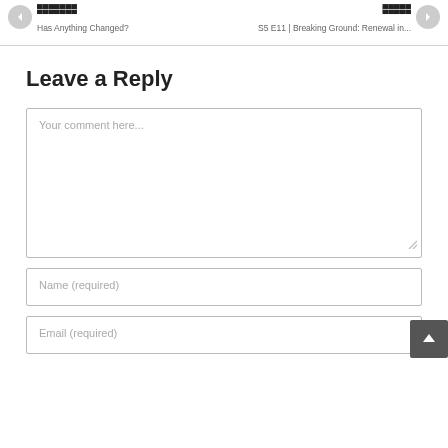← [Previous] Has Anything Changed? | [Next] → S5 E11 | Breaking Ground: Renewal in...
Leave a Reply
Your comment here...
Name (required)
Email (required)